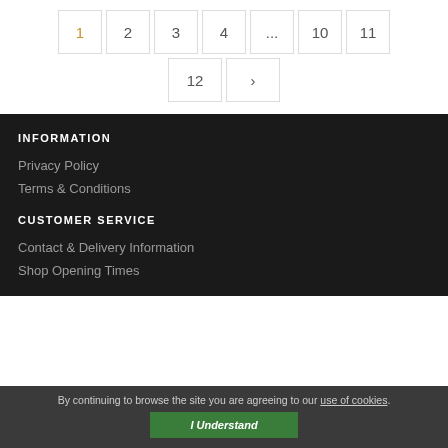1 2 3 4 ... 10 11 12 >
INFORMATION
Privacy Policy
Terms & Conditions
CUSTOMER SERVICE
Contact & Delivery Information
Shop Opening Times
By continuing to browse the site you are agreeing to our use of cookies.
I Understand